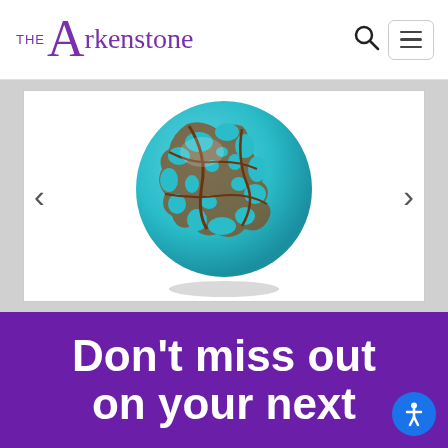THE Arkenstone
[Figure (photo): A turquoise sphere with brown matrix patterns (spiderweb turquoise), photographed against a white background with a subtle shadow underneath. Navigation arrows visible on left and right sides of the image frame.]
Don't miss out on your next